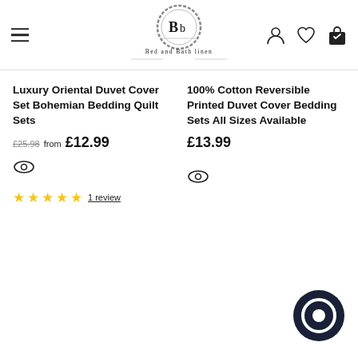Bed and Bath linen — navigation header with logo, hamburger menu, user, wishlist, and cart icons
Luxury Oriental Duvet Cover Set Bohemian Bedding Quilt Sets
£25.98 from £12.99
100% Cotton Reversible Printed Duvet Cover Bedding Sets All Sizes Available
£13.99
★★★★★ 1 review